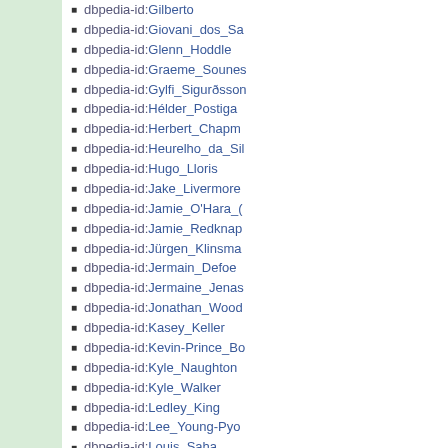dbpedia-id:Gilberto
dbpedia-id:Giovani_dos_Sa
dbpedia-id:Glenn_Hoddle
dbpedia-id:Graeme_Sounes
dbpedia-id:Gylfi_Sigurðsson
dbpedia-id:Hélder_Postiga
dbpedia-id:Herbert_Chapman
dbpedia-id:Heurelho_da_Sil
dbpedia-id:Hugo_Lloris
dbpedia-id:Jake_Livermore
dbpedia-id:Jamie_O'Hara_(
dbpedia-id:Jamie_Redknap
dbpedia-id:Jürgen_Klinsma
dbpedia-id:Jermain_Defoe
dbpedia-id:Jermaine_Jenas
dbpedia-id:Jonathan_Wood
dbpedia-id:Kasey_Keller
dbpedia-id:Kevin-Prince_Bo
dbpedia-id:Kyle_Naughton
dbpedia-id:Kyle_Walker
dbpedia-id:Ledley_King
dbpedia-id:Lee_Young-Pyo
dbpedia-id:Louis_Saha
dbpedia-id:Luka_Modrić
dbpedia-id:Luke_Young_(pe
dbpedia-id:Mark_Gower
dbpedia-id:Matthew_Etherin
dbpedia-id:Márton_Fülöp
dbpedia-id:Michael_Carrick